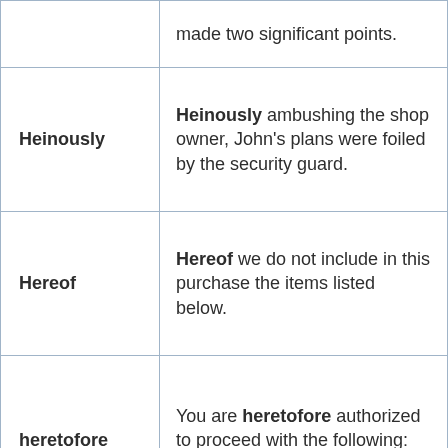| Term | Definition |
| --- | --- |
|  | made two significant points. |
| Heinously | Heinously ambushing the shop owner, John's plans were foiled by the security guard. |
| Hereof | Hereof we do not include in this purchase the items listed below. |
| heretofore | You are heretofore authorized to proceed with the following: instructions and directions. |
|  | My father, a retired merchant marine, habitually wore a |